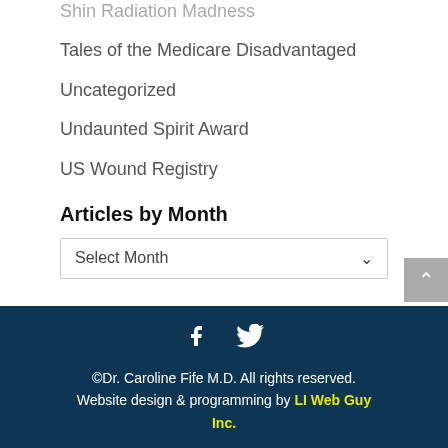Shin Radiation Madness
Tales of the Medicare Disadvantaged
Uncategorized
Undaunted Spirit Award
US Wound Registry
Articles by Month
Select Month
©Dr. Caroline Fife M.D. All rights reserved. Website design & programming by LI Web Guy Inc.